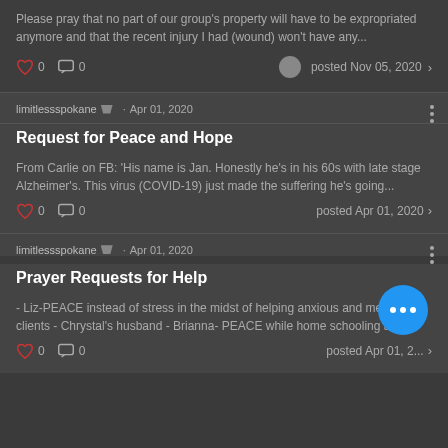Please pray that no part of our group's property will have to be expropriated anymore and that the recent injury I had (wound) won't have any...
0  0   posted Nov 05, 2020 >
limitlessspokane  Admin · Apr 01, 2020
Request for Peace and Hope
From Carlie on FB: 'His name is Jan. Honestly he's in his 60s with late stage Alzheimer's. This virus (COVID-19) just made the suffering he's going...
0  0   posted Apr 01, 2020 >
limitlessspokane  Admin · Apr 01, 2020
Prayer Requests for Help
- Liz-PEACE instead of stress in the midst of helping anxious and mean clients - Chrystal's husband - Brianna- PEACE while home schooling and...
0  0   posted Apr 01, 2...